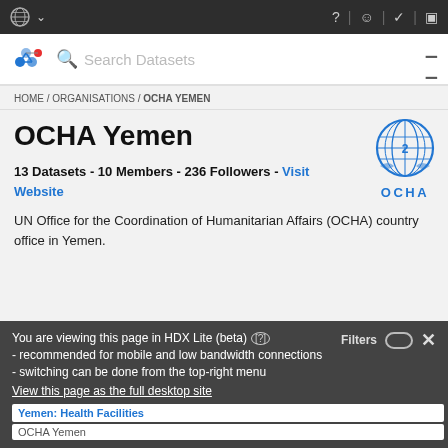Navigation bar with UN logo, search bar with HDX logo, Search Datasets placeholder
HOME / ORGANISATIONS / OCHA YEMEN
OCHA Yemen
13 Datasets - 10 Members - 236 Followers - Visit Website
[Figure (logo): OCHA UN emblem logo in blue with OCHA text below]
UN Office for the Coordination of Humanitarian Affairs (OCHA) country office in Yemen.
You are viewing this page in HDX Lite (beta) [?] - recommended for mobile and low bandwidth connections - switching can be done from the top-right menu
View this page as the full desktop site
Filters
Yemen: Health Facilities
OCHA Yemen